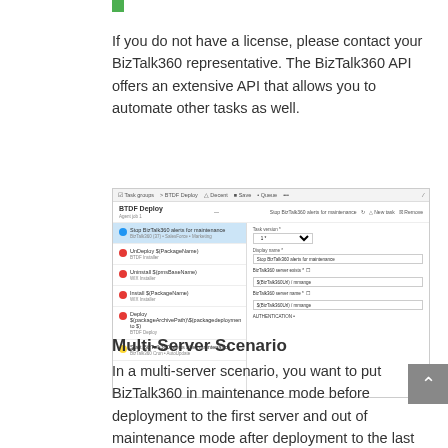If you do not have a license, please contact your BizTalk360 representative. The BizTalk360 API offers an extensive API that allows you to automate other tasks as well.
[Figure (screenshot): Screenshot of BizTalk360 BTDF Deploy task pipeline showing a list of deployment tasks on the left (Stop BizTalk360 alerts for maintenance, UnDeploy $PackageName$, Uninstall $pmsBaseName$, Install $PackageName$, Deploy $packageArchivePath$, Start BizTalk360 alerts after maintenance) and configuration fields on the right.]
Multi-Server Scenario
In a multi-server scenario, you want to put BizTalk360 in maintenance mode before deployment to the first server and out of maintenance mode after deployment to the last server. This case, your release pipeline might look